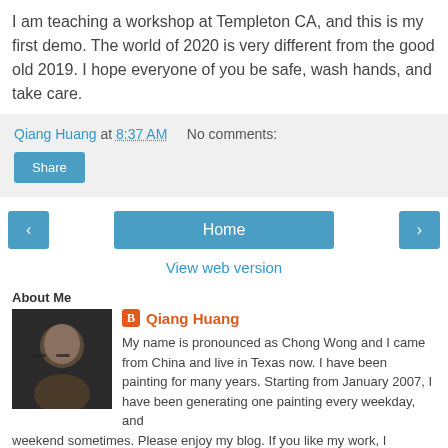I am teaching a workshop at Templeton CA, and this is my first demo. The world of 2020 is very different from the good old 2019. I hope everyone of you be safe, wash hands, and take care.
Qiang Huang at 8:37 AM   No comments:
Share
‹   Home   ›
View web version
About Me
[Figure (photo): Portrait photo of Qiang Huang, a man wearing glasses]
Qiang Huang
My name is pronounced as Chong Wong and I came from China and live in Texas now. I have been painting for many years. Starting from January 2007, I have been generating one painting every weekday, and weekend sometimes. Please enjoy my blog. If you like my work, I